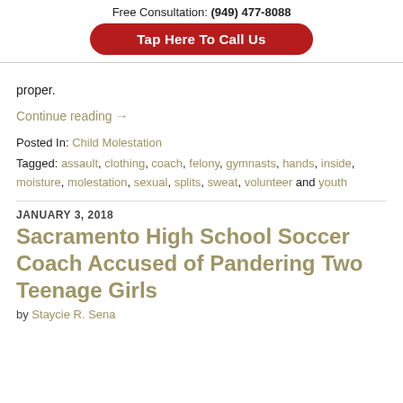Free Consultation: (949) 477-8088
[Figure (other): Red rounded button with white bold text: Tap Here To Call Us]
proper.
Continue reading →
Posted In: Child Molestation
Tagged: assault, clothing, coach, felony, gymnasts, hands, inside, moisture, molestation, sexual, splits, sweat, volunteer and youth
JANUARY 3, 2018
Sacramento High School Soccer Coach Accused of Pandering Two Teenage Girls
by Staycie R. Sena